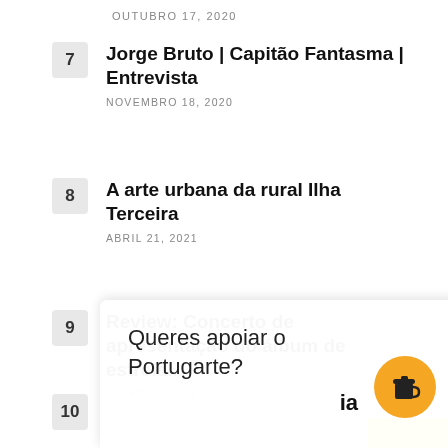OUTUBRO 17, 2020
7  Jorge Bruto | Capitão Fantasma | Entrevista
NOVEMBRO 18, 2020
8  A arte urbana da rural Ilha Terceira
ABRIL 21, 2021
9  Review: Concerto de apresentação do álbum de estreia...
JUNHO 8, 2021
10  [partial content with popup overlay]
ABRIL 9, 2021